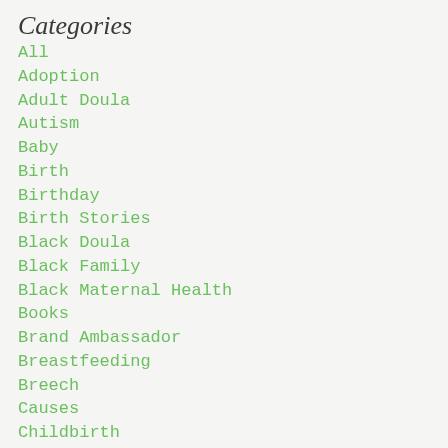Categories
All
Adoption
Adult Doula
Autism
Baby
Birth
Birthday
Birth Stories
Black Doula
Black Family
Black Maternal Health
Books
Brand Ambassador
Breastfeeding
Breech
Causes
Childbirth
Childcare
Client Offer